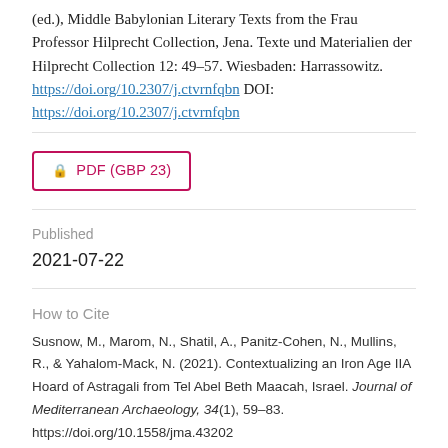(ed.), Middle Babylonian Literary Texts from the Frau Professor Hilprecht Collection, Jena. Texte und Materialien der Hilprecht Collection 12: 49–57. Wiesbaden: Harrassowitz. https://doi.org/10.2307/j.ctvrnfqbn DOI: https://doi.org/10.2307/j.ctvrnfqbn
PDF (GBP 23)
Published
2021-07-22
How to Cite
Susnow, M., Marom, N., Shatil, A., Panitz-Cohen, N., Mullins, R., & Yahalom-Mack, N. (2021). Contextualizing an Iron Age IIA Hoard of Astragali from Tel Abel Beth Maacah, Israel. Journal of Mediterranean Archaeology, 34(1), 59–83. https://doi.org/10.1558/jma.43202